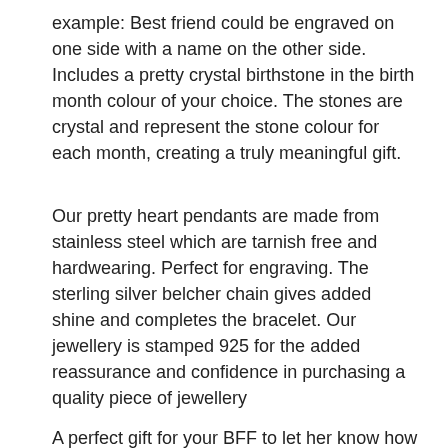example: Best friend could be engraved on one side with a name on the other side. Includes a pretty crystal birthstone in the birth month colour of your choice. The stones are crystal and represent the stone colour for each month, creating a truly meaningful gift.
Our pretty heart pendants are made from stainless steel which are tarnish free and hardwearing. Perfect for engraving. The sterling silver belcher chain gives added shine and completes the bracelet. Our jewellery is stamped 925 for the added reassurance and confidence in purchasing a quality piece of jewellery
A perfect gift for your BFF to let her know how special she is and how much your friendship means to you.
Something Silver Brand jewellery is packaged in a luxury matchbox style gift box. Our beautiful and contemporary packaging makes our quality jewellery complete.